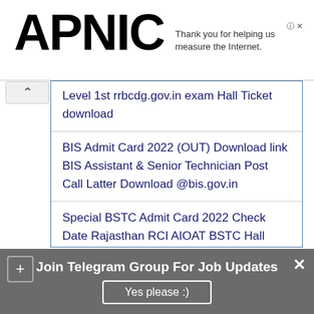[Figure (logo): APNIC logo in large bold black text]
Thank you for helping us measure the Internet.
Level 1st rrbcdg.gov.in exam Hall Ticket download
BIS Admit Card 2022 (OUT) Download link BIS Assistant & Senior Technician Post Call Latter Download @bis.gov.in
Special BSTC Admit Card 2022 Check Date Rajasthan RCI AIOAT BSTC Hall Ticket Download @rehabcouncil.nic.in
Join Telegram Group For Job Updates
Yes please :)